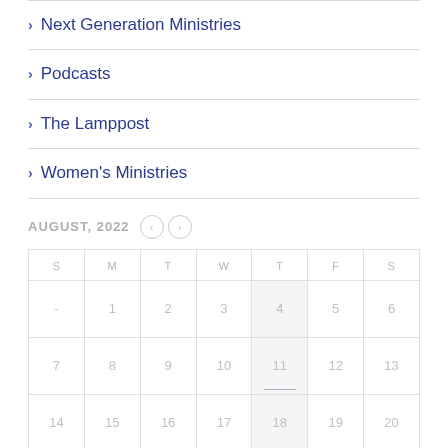> Next Generation Ministries
> Podcasts
> The Lamppost
> Women's Ministries
AUGUST, 2022
| S | M | T | W | T | F | S |
| --- | --- | --- | --- | --- | --- | --- |
| - | 1 | 2 | 3 | 4 | 5 | 6 |
| 7 | 8 | 9 | 10 | 11 | 12 | 13 |
| 14 | 15 | 16 | 17 | 18 | 19 | 20 |